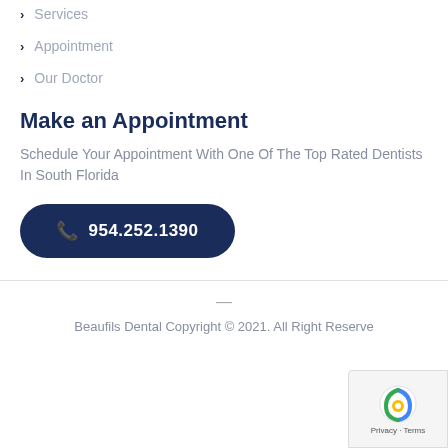> Services
> Appointment
> Our Doctor
Make an Appointment
Schedule Your Appointment With One Of The Top Rated Dentists In South Florida
954.252.1390
Beaufils Dental Copyright © 2021. All Right Reserved